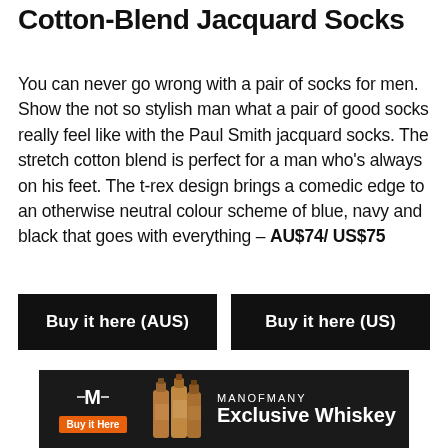Cotton-Blend Jacquard Socks
You can never go wrong with a pair of socks for men. Show the not so stylish man what a pair of good socks really feel like with the Paul Smith jacquard socks. The stretch cotton blend is perfect for a man who's always on his feet. The t-rex design brings a comedic edge to an otherwise neutral colour scheme of blue, navy and black that goes with everything – AU$74/ US$75
Buy it here (AUS)
Buy it here (US)
[Figure (infographic): Man of Many advertisement banner with logo, orange Buy it Here button, whiskey bottles, and Exclusive Whiskey tagline on dark background]